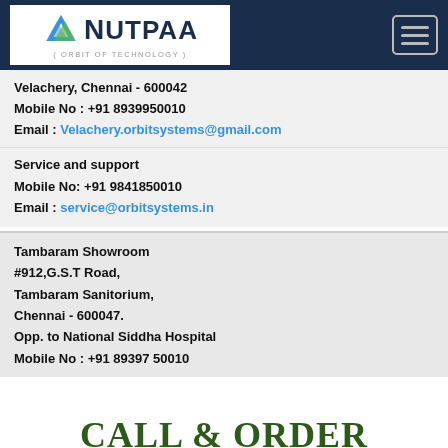[Figure (logo): Nutpaa (Orbit of Technology) logo with navigation bar]
Velachery, Chennai - 600042
Mobile No : +91 8939950010
Email : Velachery.orbitsystems@gmail.com
Service and support
Mobile No: +91 9841850010
Email : service@orbitsystems.in
Tambaram Showroom
#912,G.S.T Road,
Tambaram Sanitorium,
Chennai - 600047.
Opp. to National Siddha Hospital
Mobile No : +91 89397 50010
CALL & ORDER